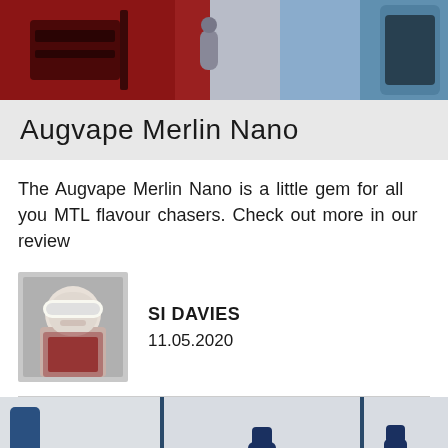[Figure (photo): Close-up photo of vaping device/mod in red and silver/blue colors]
Augvape Merlin Nano
The Augvape Merlin Nano is a little gem for all you MTL flavour chasers. Check out more in our review
[Figure (photo): Author avatar - stormtrooper helmet photo]
SI DAVIES
11.05.2020
[Figure (photo): Grid of vaping tank/atomizer product photos showing blue Augvape Merlin Nano tanks from multiple angles]